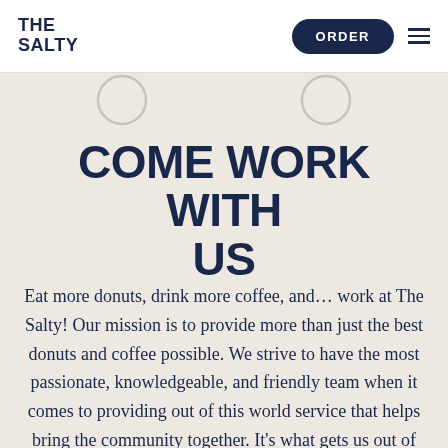THE SALTY
COME WORK WITH US
Eat more donuts, drink more coffee, and… work at The Salty! Our mission is to provide more than just the best donuts and coffee possible. We strive to have the most passionate, knowledgeable, and friendly team when it comes to providing out of this world service that helps bring the community together. It's what gets us out of bed in the morning and keeps us up late at night, and we're always looking for people that fit that mindset. Think